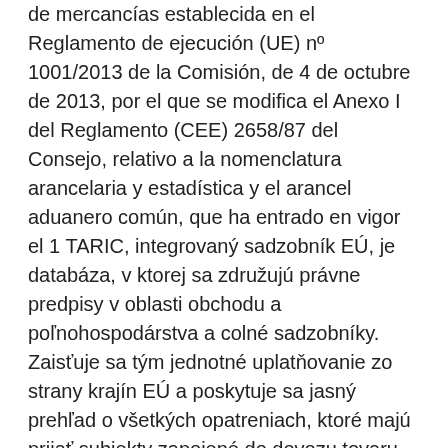de mercancías establecida en el Reglamento de ejecución (UE) nº 1001/2013 de la Comisión, de 4 de octubre de 2013, por el que se modifica el Anexo I del Reglamento (CEE) 2658/87 del Consejo, relativo a la nomenclatura arancelaria y estadística y el arancel aduanero común, que ha entrado en vigor el 1 TARIC, integrovaný sadzobník EÚ, je databáza, v ktorej sa združujú právne predpisy v oblasti obchodu a poľnohospodárstva a colné sadzobníky. Zaisťuje sa tým jednotné uplatňovanie zo strany krajín EÚ a poskytuje sa jasný prehľad o všetkých opatreniach, ktoré majú prijať subjekty zapojené do dovozu tovaru do EÚ alebo vývozu tovaru z EÚ. Bagaimana Cara cepat membuat pangkat di Microsoft Excel? Berbeda dengan cara di Ms. Word. Ms Excel mempunyai trik cepat untuk membuat pangkat, baik itu pangk TARIC CODE